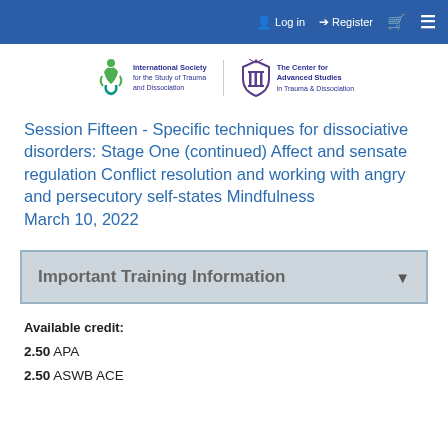Log in  Register
[Figure (logo): International Society for the Study of Trauma and Dissociation logo and The Center for Advanced Studies in Trauma & Dissociation logo]
Session Fifteen - Specific techniques for dissociative disorders: Stage One (continued) Affect and sensate regulation Conflict resolution and working with angry and persecutory self-states Mindfulness
March 10, 2022
Important Training Information
Available credit:
2.50 APA
2.50 ASWB ACE